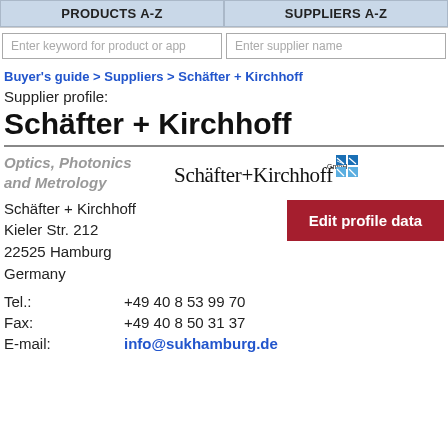Products A-Z | Suppliers A-Z
Enter keyword for product or app
Enter supplier name
Buyer's guide > Suppliers > Schäfter + Kirchhoff
Supplier profile:
Schäfter + Kirchhoff
Optics, Photonics and Metrology
[Figure (logo): Schäfter + Kirchhoff GmbH logo with blue grid icon]
Schäfter + Kirchhoff
Kieler Str. 212
22525 Hamburg
Germany
Edit profile data
Tel.:   +49 40 8 53 99 70
Fax:   +49 40 8 50 31 37
E-mail:   info@sukhamburg.de